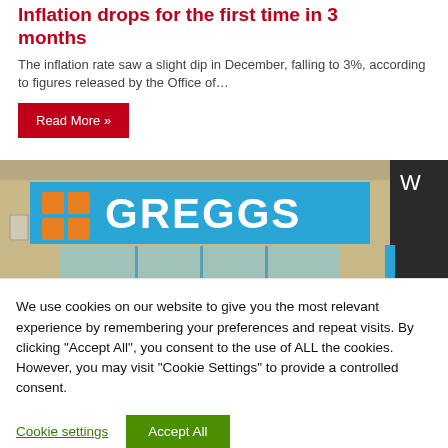Inflation drops for the first time in 3 months
The inflation rate saw a slight dip in December, falling to 3%, according to figures released by the Office of…
Read More »
[Figure (photo): Exterior photo of a Greggs bakery storefront with blue signage showing the Greggs logo and orange square grid icon]
We use cookies on our website to give you the most relevant experience by remembering your preferences and repeat visits. By clicking "Accept All", you consent to the use of ALL the cookies. However, you may visit "Cookie Settings" to provide a controlled consent.
Cookie settings
Accept All